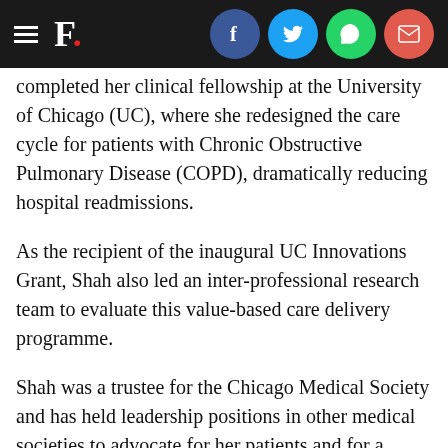F. [logo with social icons: Facebook, Twitter, WhatsApp, Email]
completed her clinical fellowship at the University of Chicago (UC), where she redesigned the care cycle for patients with Chronic Obstructive Pulmonary Disease (COPD), dramatically reducing hospital readmissions.
As the recipient of the inaugural UC Innovations Grant, Shah also led an inter-professional research team to evaluate this value-based care delivery programme.
Shah was a trustee for the Chicago Medical Society and has held leadership positions in other medical societies to advocate for her patients and for a sustainable medical workforce. She received a BS and an MD from the Pennsylvania State University/Jefferson Medical College accelerated six-year medical program and MPH from Harvard.
Tripathi, an astrophysicist recently at Harvard University, focuses on the formation and evolution of planets. She has...